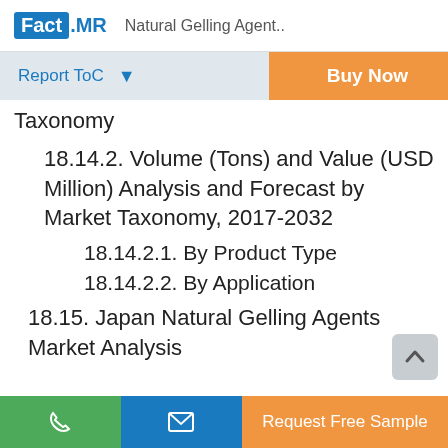Fact.MR  Natural Gelling Agent..
Report ToC
Taxonomy
18.14.2. Volume (Tons) and Value (USD Million) Analysis and Forecast by Market Taxonomy, 2017-2032
18.14.2.1. By Product Type
18.14.2.2. By Application
18.15. Japan Natural Gelling Agents Market Analysis
Request Free Sample